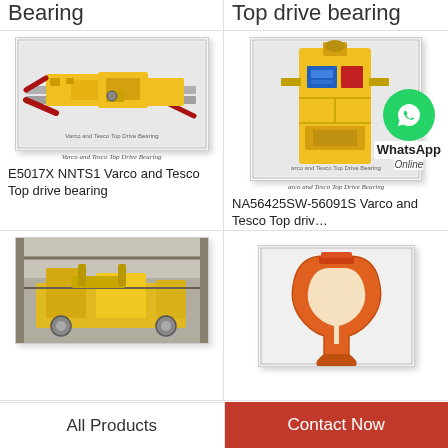Bearing
Top drive bearing
[Figure (photo): Varco and Tesco Top Drive Bearing - yellow horizontal drilling assembly with red components]
Varco and Tesco Top Drive Bearing
E5017X NNTS1 Varco and Tesco Top drive bearing
[Figure (photo): Varco and Tesco Top Drive Bearing - yellow vertical top drive unit]
arco and Tesco Top Drive Bearing
NA56425SW-56091S Varco and Tesco Top driv…
[Figure (photo): Yellow drilling equipment in industrial setting]
[Figure (photo): Orange/red hook or elevator component]
All Products
Contact Now